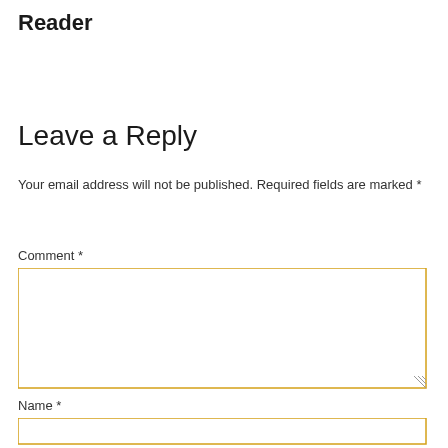Reader
Leave a Reply
Your email address will not be published. Required fields are marked *
Comment *
Name *